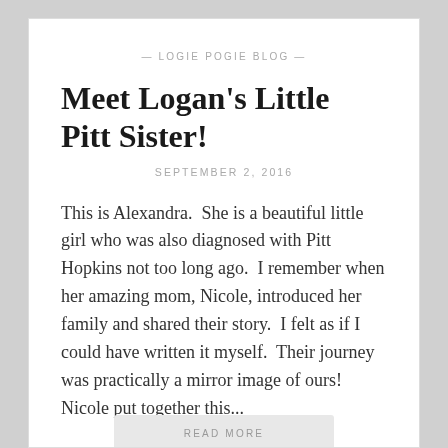— LOGIE POGIE BLOG —
Meet Logan's Little Pitt Sister!
SEPTEMBER 2, 2016
This is Alexandra.  She is a beautiful little girl who was also diagnosed with Pitt Hopkins not too long ago.  I remember when her amazing mom, Nicole, introduced her family and shared their story.  I felt as if I could have written it myself.  Their journey was practically a mirror image of ours!  Nicole put together this...
READ MORE